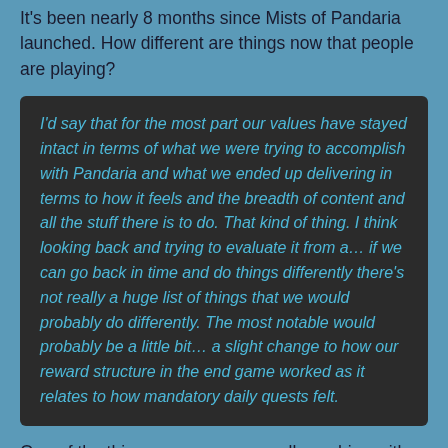It's been nearly 8 months since Mists of Pandaria launched. How different are things now that people are playing?
I'd say that for the most part our values have stayed intact in terms of what we were trying to accomplish with Pandaria and what we ended up delivering in terms to how it feels and the breadth of content and all the stuff there is to do. That kind of thing. I think looking back and trying to evaluate it from a... if we can go back in time and do things differently there's not really a huge list of things that we would probably do differently. The most notable would probably be a little bit... a slight change to how our reward structure in the end game worked as it relates to how mandatory daily quests felt.
One of the things you guys are really pushing with this